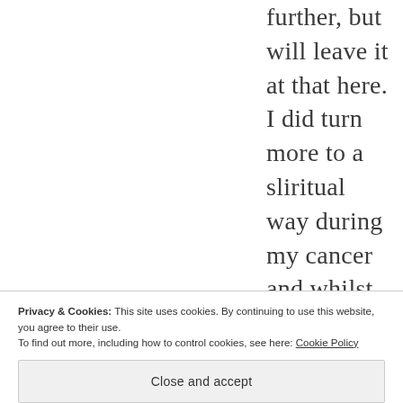further, but will leave it at that here. I did turn more to a sliritual way during my cancer and whilst going blind, as a way of dealing with
Privacy & Cookies: This site uses cookies. By continuing to use this website, you agree to their use.
To find out more, including how to control cookies, see here: Cookie Policy
Close and accept
in the